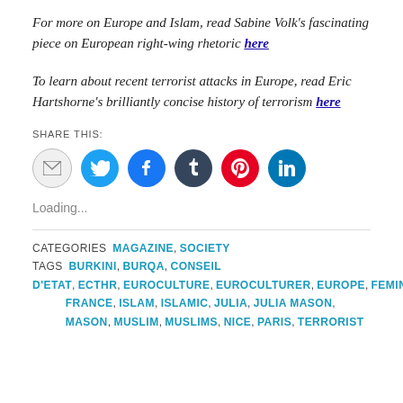For more on Europe and Islam, read Sabine Volk's fascinating piece on European right-wing rhetoric here
To learn about recent terrorist attacks in Europe, read Eric Hartshorne's brilliantly concise history of terrorism here
SHARE THIS:
[Figure (infographic): Row of six social share icon buttons: email (grey), Twitter (blue), Facebook (blue), Tumblr (dark blue), Pinterest (red), LinkedIn (blue)]
Loading...
CATEGORIES  MAGAZINE, SOCIETY
TAGS  BURKINI, BURQA, CONSEIL D'ETAT, ECTHR, EUROCULTURE, EUROCULTURER, EUROPE, FEMINISM, FRANCE, ISLAM, ISLAMIC, JULIA, JULIA MASON, MASON, MUSLIM, MUSLIMS, NICE, PARIS, TERRORIST